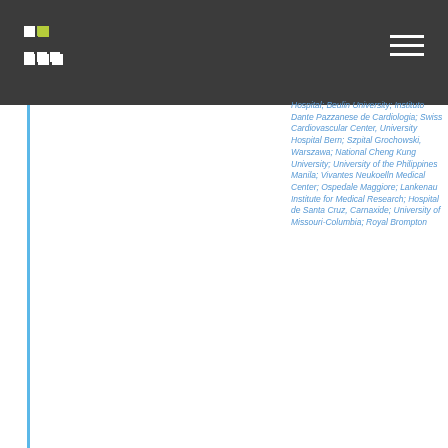Hospital; Beulin University; Instituto Dante Pazzanese de Cardiologia; Swiss Cardiovascular Center, University Hospital Bern; Szpital Grochowski, Warszawa; National Cheng Kung University; University of the Philippines Manila; Vivantes Neukoelln Medical Center; Ospedale Maggiore; Lankenau Institute for Medical Research; Hospital de Santa Cruz, Carnaxide; University of Missouri-Columbia; Royal Brompton